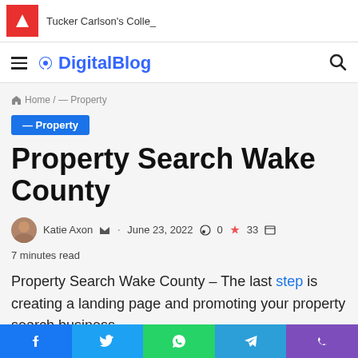Tucker Carlson's Colle_
DigitalBlog
Home / — Property
— Property
Property Search Wake County
Katie Axon · June 23, 2022 · 0 · 33 · 7 minutes read
Property Search Wake County – The last step is creating a landing page and promoting your property search business.
Facebook Twitter WhatsApp Telegram Phone